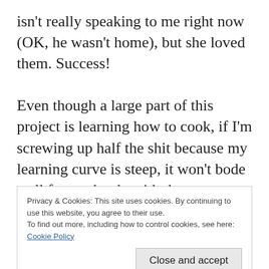isn't really speaking to me right now (OK, he wasn't home), but she loved them. Success!
Even though a large part of this project is learning how to cook, if I'm screwing up half the shit because my learning curve is steep, it won't bode well for my battle with the vegetables. So I'm treating myself to a night out every now and then to let an expert cook
Privacy & Cookies: This site uses cookies. By continuing to use this website, you agree to their use.
To find out more, including how to control cookies, see here: Cookie Policy
Close and accept
force fed me a mushroom there and I didn't